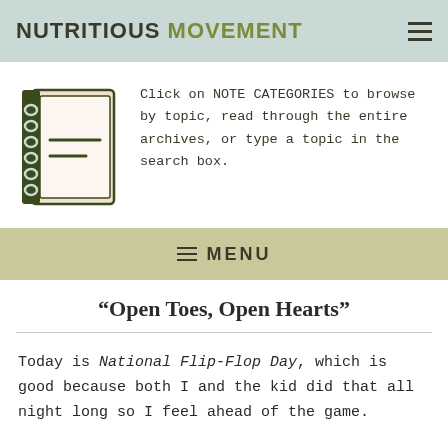NUTRITIOUS MOVEMENT
[Figure (illustration): Icon of a spiral-bound notebook with a pink/beige cover and two horizontal lines on the page]
Click on NOTE CATEGORIES to browse by topic, read through the entire archives, or type a topic in the search box.
≡ MENU
“Open Toes, Open Hearts”
Today is National Flip-Flop Day, which is good because both I and the kid did that all night long so I feel ahead of the game.